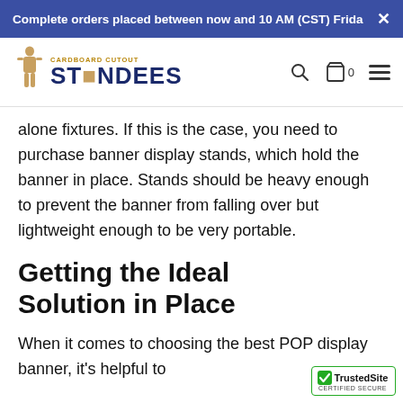Complete orders placed between now and 10 AM (CST) Frida ×
[Figure (logo): Cardboard Cutout Standees logo with figure icon]
alone fixtures. If this is the case, you need to purchase banner display stands, which hold the banner in place. Stands should be heavy enough to prevent the banner from falling over but lightweight enough to be very portable.
Getting the Ideal Solution in Place
When it comes to choosing the best POP display banner, it's helpful to
[Figure (logo): TrustedSite Certified Secure badge]